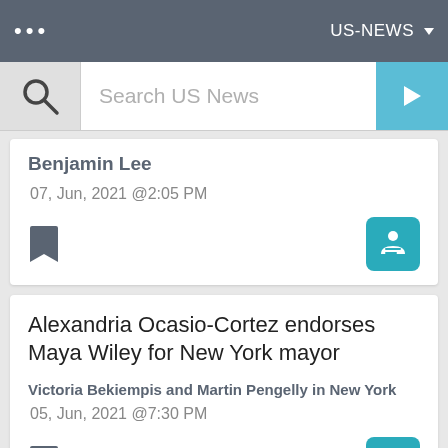US-NEWS
[Figure (screenshot): Search bar with magnifying glass icon and 'Search US News' placeholder text, with a blue arrow button on the right]
Benjamin Lee
07, Jun, 2021 @2:05 PM
Alexandria Ocasio-Cortez endorses Maya Wiley for New York mayor
Victoria Bekiempis and Martin Pengelly in New York
05, Jun, 2021 @7:30 PM
(partial article title cut off at bottom)